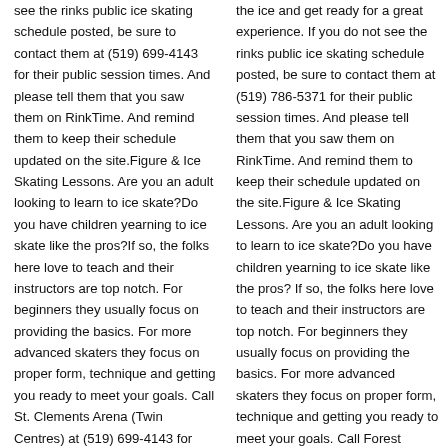see the rinks public ice skating schedule posted, be sure to contact them at (519) 699-4143 for their public session times. And please tell them that you saw them on RinkTime. And remind them to keep their schedule updated on the site.Figure & Ice Skating Lessons. Are you an adult looking to learn to ice skate?Do you have children yearning to ice skate like the pros?If so, the folks here love to teach and their instructors are top notch. For beginners they usually focus on providing the basics. For more advanced skaters they focus on proper form, technique and getting you ready to meet your goals. Call St. Clements Arena (Twin Centres) at (519) 699-4143 for more
the ice and get ready for a great experience. If you do not see the rinks public ice skating schedule posted, be sure to contact them at (519) 786-5371 for their public session times. And please tell them that you saw them on RinkTime. And remind them to keep their schedule updated on the site.Figure & Ice Skating Lessons. Are you an adult looking to learn to ice skate?Do you have children yearning to ice skate like the pros? If so, the folks here love to teach and their instructors are top notch. For beginners they usually focus on providing the basics. For more advanced skaters they focus on proper form, technique and getting you ready to meet your goals. Call Forest Community Centre at (519)